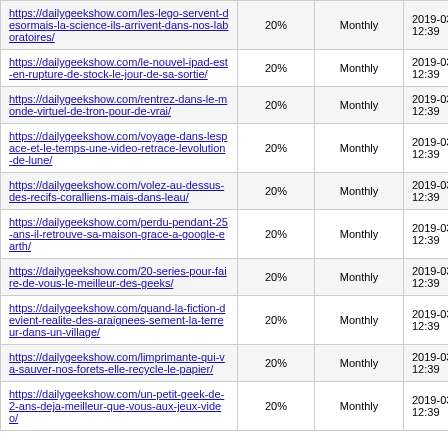| https://dailygeekshow.com/les-lego-servent-desormais-la-science-ils-arrivent-dans-nos-laboratoires/ | 20% | Monthly | 2019-03-11 12:39 |
| https://dailygeekshow.com/le-nouvel-ipad-est-en-rupture-de-stock-le-jour-de-sa-sortie/ | 20% | Monthly | 2019-03-11 12:39 |
| https://dailygeekshow.com/rentrez-dans-le-monde-virtuel-de-tron-pour-de-vrai/ | 20% | Monthly | 2019-03-11 12:39 |
| https://dailygeekshow.com/voyage-dans-lespace-et-le-temps-une-video-retrace-levolution-de-lune/ | 20% | Monthly | 2019-03-11 12:39 |
| https://dailygeekshow.com/volez-au-dessus-des-recifs-coralliens-mais-dans-leau/ | 20% | Monthly | 2019-03-11 12:39 |
| https://dailygeekshow.com/perdu-pendant-25-ans-il-retrouve-sa-maison-grace-a-google-earth/ | 20% | Monthly | 2019-03-11 12:39 |
| https://dailygeekshow.com/20-series-pour-faire-de-vous-le-meilleur-des-geeks/ | 20% | Monthly | 2019-03-11 12:39 |
| https://dailygeekshow.com/quand-la-fiction-devient-realite-des-araignees-sement-la-terreur-dans-un-village/ | 20% | Monthly | 2019-03-11 12:39 |
| https://dailygeekshow.com/limprimante-qui-va-sauver-nos-forets-elle-recycle-le-papier/ | 20% | Monthly | 2019-03-11 12:39 |
| https://dailygeekshow.com/un-petit-geek-de-2-ans-deja-meilleur-que-vous-aux-jeux-video/ | 20% | Monthly | 2019-03-11 12:39 |